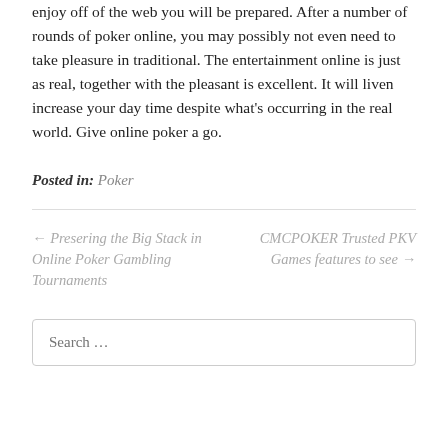enjoy off of the web you will be prepared. After a number of rounds of poker online, you may possibly not even need to take pleasure in traditional. The entertainment online is just as real, together with the pleasant is excellent. It will liven increase your day time despite what's occurring in the real world. Give online poker a go.
Posted in: Poker
← Presering the Big Stack in Online Poker Gambling Tournaments
CMCPOKER Trusted PKV Games features to see →
Search …